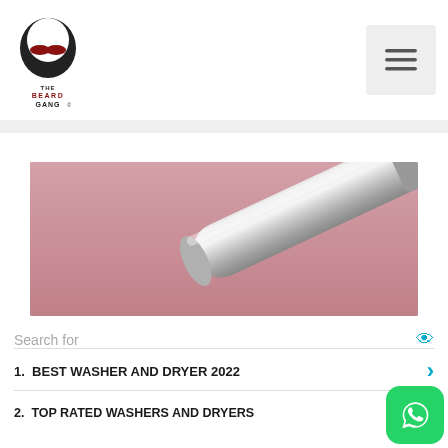[Figure (logo): The Beard Gang logo — illustrated bearded face silhouette with mustache, text reads THE BEARD GANG]
[Figure (photo): Pink background with a silver/metallic cylindrical object (possibly a beard trimmer or roller) resting diagonally]
Search for
1. BEST WASHER AND DRYER 2022
2. TOP RATED WASHERS AND DRYERS